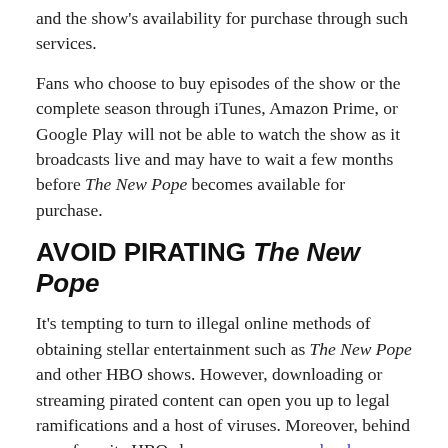and the show's availability for purchase through such services.
Fans who choose to buy episodes of the show or the complete season through iTunes, Amazon Prime, or Google Play will not be able to watch the show as it broadcasts live and may have to wait a few months before The New Pope becomes available for purchase.
AVOID PIRATING The New Pope
It's tempting to turn to illegal online methods of obtaining stellar entertainment such as The New Pope and other HBO shows. However, downloading or streaming pirated content can open you up to legal ramifications and a host of viruses. Moreover, behind your favorite HBO shows are numerous hard-working and talented individuals whose payment is not only well-deserved but needed if they are to continue bringing the stories we love to life.
Why take a risk when there are so many legal and convenient ways to view The New Pope and your other